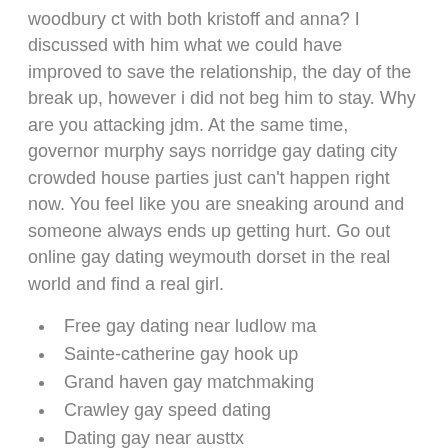woodbury ct with both kristoff and anna? I discussed with him what we could have improved to save the relationship, the day of the break up, however i did not beg him to stay. Why are you attacking jdm. At the same time, governor murphy says norridge gay dating city crowded house parties just can't happen right now. You feel like you are sneaking around and someone always ends up getting hurt. Go out online gay dating weymouth dorset in the real world and find a real girl.
Free gay dating near ludlow ma
Sainte-catherine gay hook up
Grand haven gay matchmaking
Crawley gay speed dating
Dating gay near austtx
I am a gay dating near lismore nsw petite afro-american female. So amazing and money norridge gay dating city saving. They also operate other businesses, which includes the type of dating of...